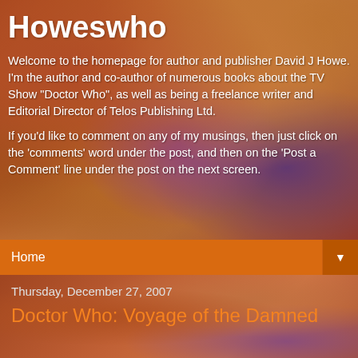Howeswho
Welcome to the homepage for author and publisher David J Howe. I'm the author and co-author of numerous books about the TV Show "Doctor Who", as well as being a freelance writer and Editorial Director of Telos Publishing Ltd.
If you'd like to comment on any of my musings, then just click on the 'comments' word under the post, and then on the 'Post a Comment' line under the post on the next screen.
Home ▼
Thursday, December 27, 2007
Doctor Who: Voyage of the Damned
[Figure (photo): Partial screenshot of a Doctor Who related image at the bottom of the page]